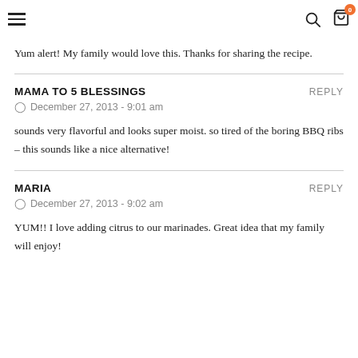Navigation header with hamburger menu, search icon, and cart icon with badge 0
Yum alert! My family would love this. Thanks for sharing the recipe.
MAMA TO 5 BLESSINGS
December 27, 2013 - 9:01 am
sounds very flavorful and looks super moist. so tired of the boring BBQ ribs – this sounds like a nice alternative!
MARIA
December 27, 2013 - 9:02 am
YUM!! I love adding citrus to our marinades. Great idea that my family will enjoy!